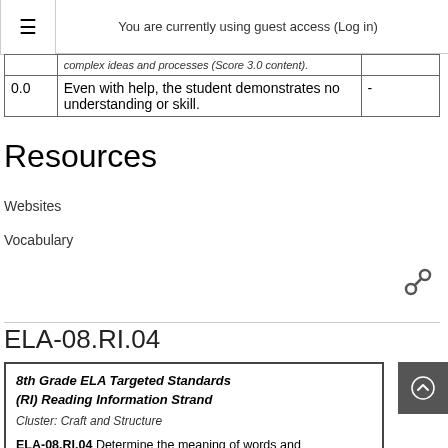You are currently using guest access (Log in)
|  | complex ideas and processes (Score 3.0 content). |  |
| 0.0 | Even with help, the student demonstrates no understanding or skill. | - |
Resources
Websites
Vocabulary
ELA-08.RI.04
8th Grade ELA Targeted Standards (RI) Reading Information Strand
Cluster: Craft and Structure

ELA-08.RI.04 Determine the meaning of words and